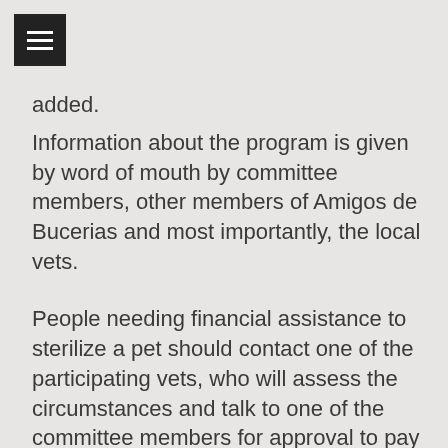≡
added.
Information about the program is given by word of mouth by committee members, other members of Amigos de Bucerias and most importantly, the local vets.
People needing financial assistance to sterilize a pet should contact one of the participating vets, who will assess the circumstances and talk to one of the committee members for approval to pay for the surgery.
Participating vets are Veterinaria Peña's, Animalitos Veterinaria and PetVet and Care. Contact information for them is on the Amigos de Bucerias website.
Committee member and Treasurer Kim Cable